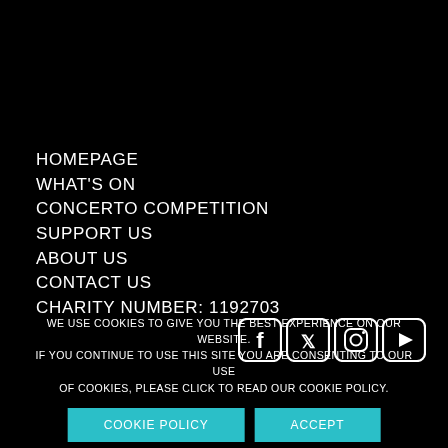HOMEPAGE
WHAT'S ON
CONCERTO COMPETITION
SUPPORT US
ABOUT US
CONTACT US
CHARITY NUMBER: 1192703
[Figure (other): Social media icons: Facebook, Twitter, Instagram, YouTube]
WE USE COOKIES TO GIVE YOU THE BEST EXPERIENCE ON OUR WEBSITE. IF YOU CONTINUE TO USE THIS SITE YOU ARE CONSENTING TO OUR USE OF COOKIES, PLEASE CLICK TO READ OUR COOKIE POLICY.
COOKIE POLICY   ACCEPT